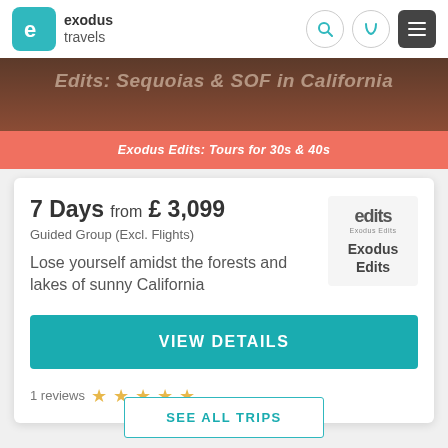[Figure (logo): Exodus Travels logo with teal 'e' icon]
[Figure (photo): Partial banner image showing forest/California scenery with italic text overlay]
Exodus Edits: Tours for 30s & 40s
7 Days from £3,099
Guided Group (Excl. Flights)
Lose yourself amidst the forests and lakes of sunny California
[Figure (logo): Exodus Edits badge logo]
VIEW DETAILS
1 reviews ★ ★ ★ ★ ★
SEE ALL TRIPS